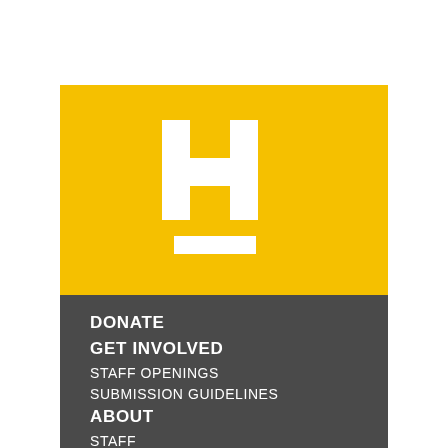[Figure (logo): White letter H with a white horizontal bar beneath it, on a yellow background. Appears to be an organization logo.]
DONATE
GET INVOLVED
STAFF OPENINGS
SUBMISSION GUIDELINES
ABOUT
STAFF
MISSION